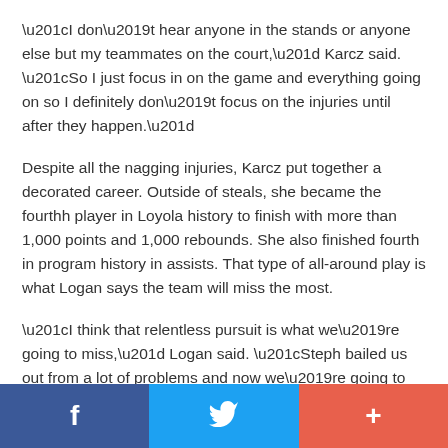“I don’t hear anyone in the stands or anyone else but my teammates on the court,” Karcz said. “So I just focus in on the game and everything going on so I definitely don’t focus on the injuries until after they happen.”
Despite all the nagging injuries, Karcz put together a decorated career. Outside of steals, she became the fourthh player in Loyola history to finish with more than 1,000 points and 1,000 rebounds. She also finished fourth in program history in assists. That type of all-around play is what Logan says the team will miss the most.
“I think that relentless pursuit is what we’re going to miss,” Logan said. “Steph bailed us out from a lot of problems and now we’re going to have to figure that out.”
[Figure (other): Social sharing bar with Facebook, Twitter, and a plus/more button]